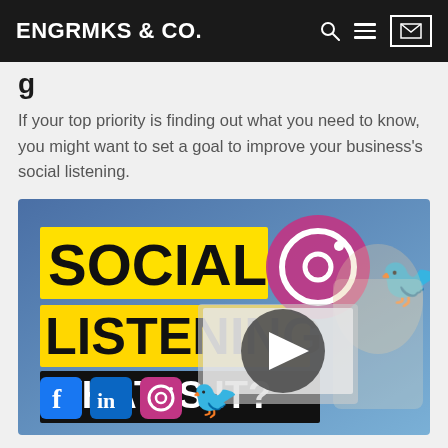ENGRMKS & CO.
g…
If your top priority is finding out what you need to know, you might want to set a goal to improve your business's social listening.
[Figure (screenshot): Video thumbnail for 'Social Listening – What Is It?' showing text overlays on yellow/blue background with person pointing, social media icons (Facebook, LinkedIn, Instagram, Twitter), and a play button overlay]